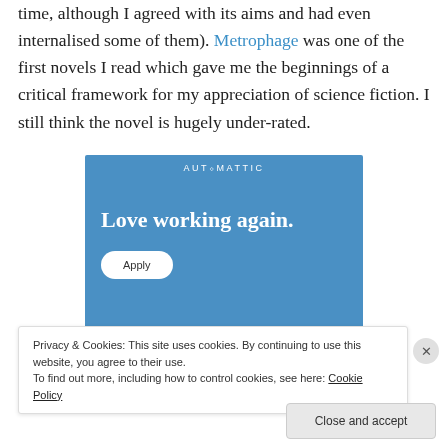time, although I agreed with its aims and had even internalised some of them). Metrophage was one of the first novels I read which gave me the beginnings of a critical framework for my appreciation of science fiction. I still think the novel is hugely under-rated.
[Figure (other): Automattic advertisement banner with blue background. Header reads 'AUTOMATTIC', main headline says 'Love working again.' with an 'Apply' button.]
Privacy & Cookies: This site uses cookies. By continuing to use this website, you agree to their use.
To find out more, including how to control cookies, see here: Cookie Policy
Close and accept